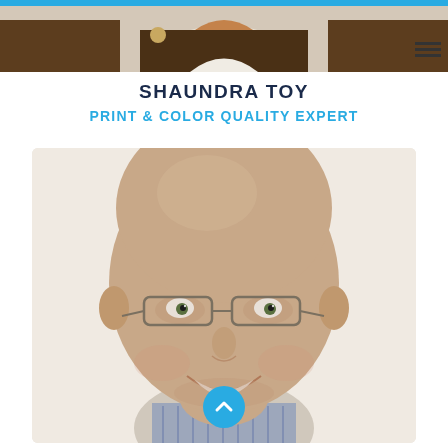[Figure (photo): Top banner showing partial photo of a person in a brown jacket with a white shirt, cropped at the top of the page]
SHAUNDRA TOY
PRINT & COLOR QUALITY EXPERT
[Figure (photo): Portrait photo of a bald man with glasses smiling, wearing a checked shirt, close-up head and shoulders shot against a light background. A cyan circular scroll-up button overlays the bottom center of the image.]